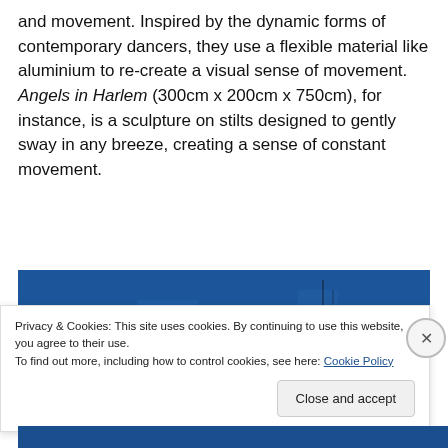and movement. Inspired by the dynamic forms of contemporary dancers, they use a flexible material like aluminium to re-create a visual sense of movement. Angels in Harlem (300cm x 200cm x 750cm), for instance, is a sculpture on stilts designed to gently sway in any breeze, creating a sense of constant movement.
[Figure (photo): Partial view of a photograph with a dark blue background, partially obscured by cookie consent banner]
Privacy & Cookies: This site uses cookies. By continuing to use this website, you agree to their use.
To find out more, including how to control cookies, see here: Cookie Policy
Close and accept